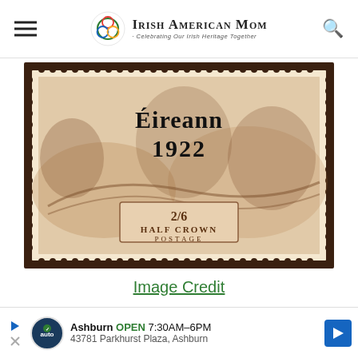Irish American Mom - Celebrating Our Irish Heritage Together
[Figure (photo): Close-up of an Irish 1922 overprinted postage stamp showing 'Éireann 1922' overprint on a British 2/6 Half Crown Postage stamp with seahorse design in brown/sepia tones, with perforated edges visible.]
Image Credit
The stamp pictured above is one
from
[Figure (infographic): Advertisement bar: Ashburn OPEN 7:30AM–6PM, 43781 Parkhurst Plaza, Ashburn, with auto service logo and navigation arrow icon.]